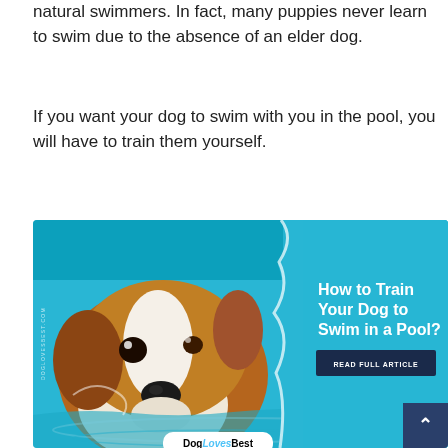natural swimmers. In fact, many puppies never learn to swim due to the absence of an elder dog.
If you want your dog to swim with you in the pool, you will have to train them yourself.
[Figure (photo): A dog (Jack Russell Terrier) swimming in a blue pool, head above water, with overlaid text 'How to Train Your Dog to Swim in a Pool?' and a 'READ FULL ARTICLE' button. DogLovesBest watermark and logo visible.]